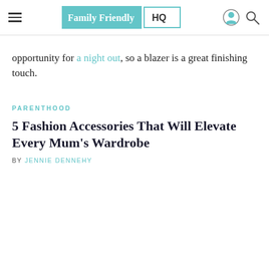Family Friendly HQ
opportunity for a night out, so a blazer is a great finishing touch.
PARENTHOOD
5 Fashion Accessories That Will Elevate Every Mum's Wardrobe
BY JENNIE DENNEHY